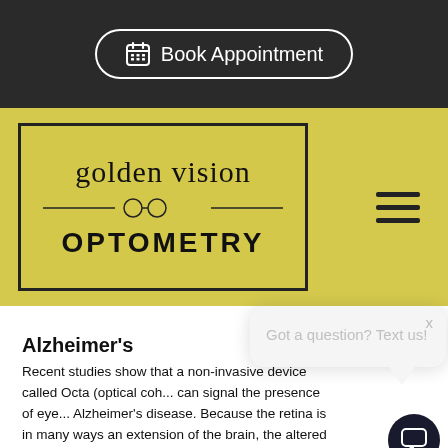[Figure (screenshot): Dark top navigation bar with Book Appointment button (calendar icon, white border, rounded pill button)]
[Figure (logo): Golden Vision Optometry logo in a bordered box on a yellow background with glasses icon divider, and hamburger menu icon to the right]
Alzheimer's
Recent studies show that a non-invasive device called Octa (optical coh... can signal the presence of eye... Alzheimer's disease. Because the retina is in many ways an extension of the brain, the altered blood vessels at the back of the eye offer a glimpse into the changes taking place within th...
[Figure (screenshot): Chat popup overlay: 'Got a question? Text us!' with X close button and speech bubble tail, with dark circle chat icon at bottom right]
Parkinson's Disease